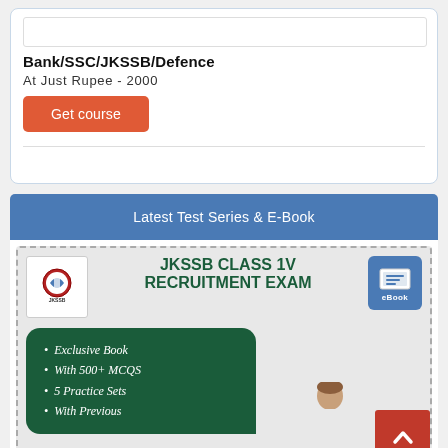Bank/SSC/JKSSB/Defence
At Just Rupee - 2000
Get course
Latest Test Series & E-Book
[Figure (illustration): JKSSB Class IV Recruitment Exam eBook advertisement with logo, eBook badge, and feature list: Exclusive Book, With 500+ MCQS, 5 Practice Sets, With Previous]
[Figure (other): Red scroll-to-top button with upward chevron]